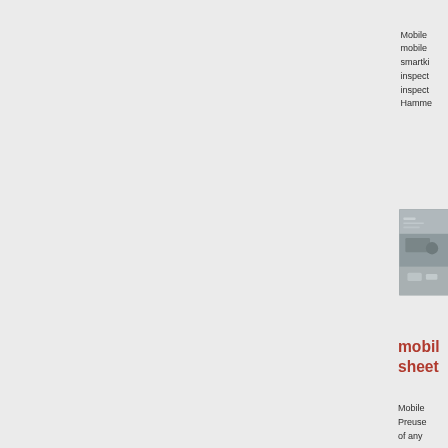Mobile smartkit inspection inspection Hammer mobile
[Figure (photo): Close-up photograph of inspection equipment or hardware component, gray tones]
mobil sheet
Mobile Preuse of any